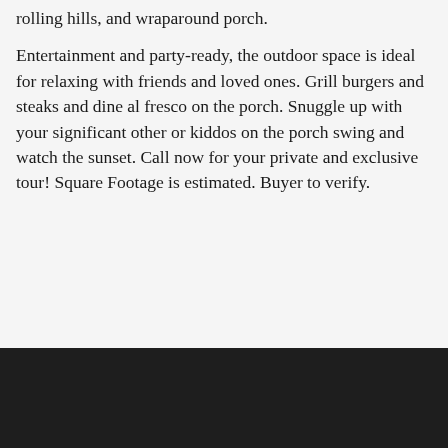rolling hills, and wraparound porch.
Entertainment and party-ready, the outdoor space is ideal for relaxing with friends and loved ones. Grill burgers and steaks and dine al fresco on the porch. Snuggle up with your significant other or kiddos on the porch swing and watch the sunset. Call now for your private and exclusive tour! Square Footage is estimated. Buyer to verify.